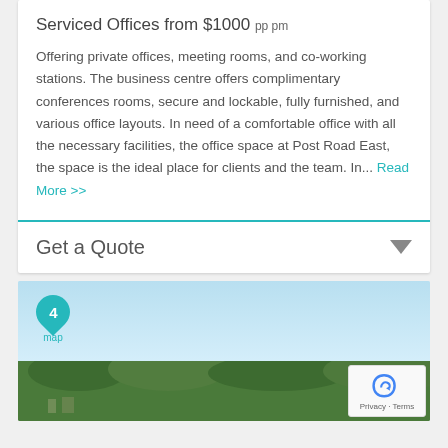Serviced Offices from $1000 pp pm
Offering private offices, meeting rooms, and co-working stations. The business centre offers complimentary conferences rooms, secure and lockable, fully furnished, and various office layouts. In need of a comfortable office with all the necessary facilities, the office space at Post Road East, the space is the ideal place for clients and the team. In... Read More >>
Get a Quote
[Figure (map): Google Maps view showing location marker with number 4, landscape with trees and sky, reCAPTCHA widget with Privacy and Terms links]